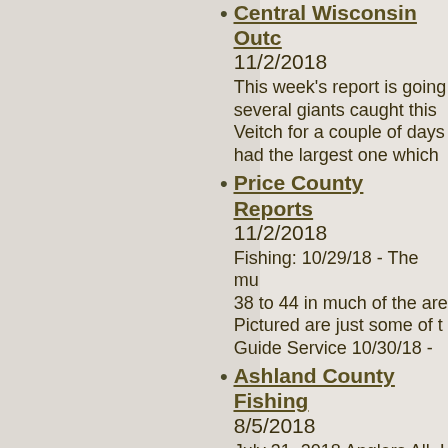Central Wisconsin Outc… 11/2/2018 — This week's report is going… several giants caught this… Veitch for a couple of days… had the largest one which…
Price County Reports 11/2/2018 — Fishing: 10/29/18 - The mu… 38 to 44 in much of the are… Pictured are just some of t… Guide Service 10/30/18 -
Ashland County Fishing… 8/5/2018 — July 31, 2018 Anglers All, … full-service tackle and fly s… For the most complete and… will gladly keep you inform…
Central Wisconsin Outc… 7/30/2018 — I'd like to start this week's… issues going on with my be… and Jason dropped everyt… service! If you are lo…